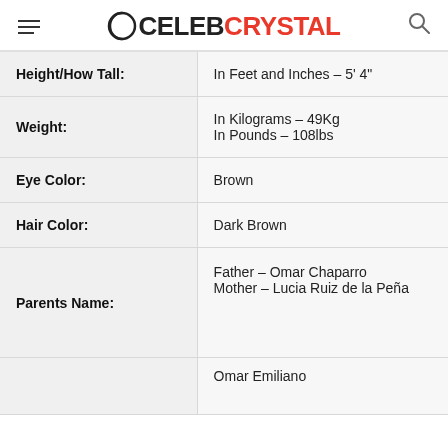CELEBCRYSTAL
| Attribute | Value |
| --- | --- |
| Height/How Tall: | In Feet and Inches – 5' 4" |
| Weight: | In Kilograms – 49Kg
In Pounds – 108lbs |
| Eye Color: | Brown |
| Hair Color: | Dark Brown |
| Parents Name: | Father – Omar Chaparro
Mother – Lucia Ruiz de la Peña |
|  | Omar Emiliano |